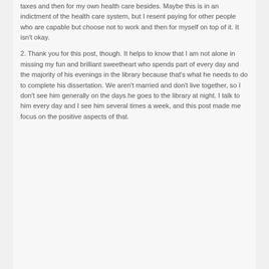taxes and then for my own health care besides. Maybe this is in an indictment of the health care system, but I resent paying for other people who are capable but choose not to work and then for myself on top of it. It isn't okay.
2. Thank you for this post, though. It helps to know that I am not alone in missing my fun and brilliant sweetheart who spends part of every day and the majority of his evenings in the library because that's what he needs to do to complete his dissertation. We aren't married and don't live together, so I don't see him generally on the days he goes to the library at night. I talk to him every day and I see him several times a week, and this post made me focus on the positive aspects of that.